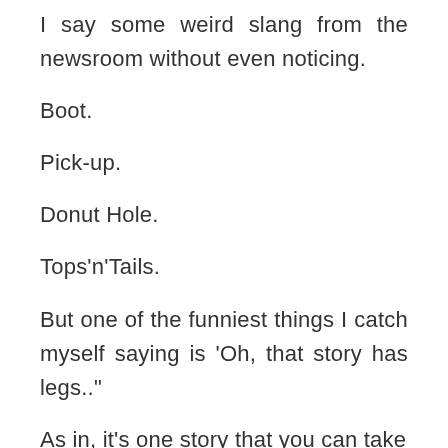I say some weird slang from the newsroom without even noticing.
Boot.
Pick-up.
Donut Hole.
Tops'n'Tails.
But one of the funniest things I catch myself saying is 'Oh, that story has legs.."
As in, it's one story that you can take